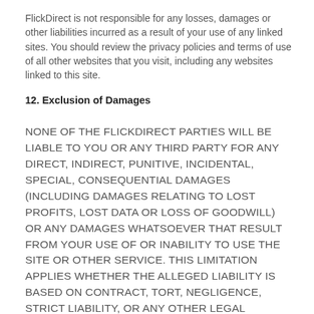FlickDirect is not responsible for any losses, damages or other liabilities incurred as a result of your use of any linked sites. You should review the privacy policies and terms of use of all other websites that you visit, including any websites linked to this site.
12. Exclusion of Damages
NONE OF THE FLICKDIRECT PARTIES WILL BE LIABLE TO YOU OR ANY THIRD PARTY FOR ANY DIRECT, INDIRECT, PUNITIVE, INCIDENTAL, SPECIAL, CONSEQUENTIAL DAMAGES (INCLUDING DAMAGES RELATING TO LOST PROFITS, LOST DATA OR LOSS OF GOODWILL) OR ANY DAMAGES WHATSOEVER THAT RESULT FROM YOUR USE OF OR INABILITY TO USE THE SITE OR OTHER SERVICE. THIS LIMITATION APPLIES WHETHER THE ALLEGED LIABILITY IS BASED ON CONTRACT, TORT, NEGLIGENCE, STRICT LIABILITY, OR ANY OTHER LEGAL THEORY, AND EVEN IF FLICKDIRECT HAS BEEN ADVISED OF THE POSSIBILITY OF SUCH DAMAGE. THIS WAIVER APPLIES, WITHOUT LIMITATION, TO ANY DAMAGES OR INJURY ARISING FROM ANY FAILURE OF PERFORMANCE, ERROR, OMISSION, INTERRUPTION, DELETION, DEFECT, DELAY IN OPERATION OR TRANSMISSION, COMPUTER VIRUS, FILE CORRUPTION, COMMUNICATION-LINE FAILURE, NETWORK OR SYSTEM OUTAGE, OR THEFT, DESTRUCTION, UNAUTHORIZED